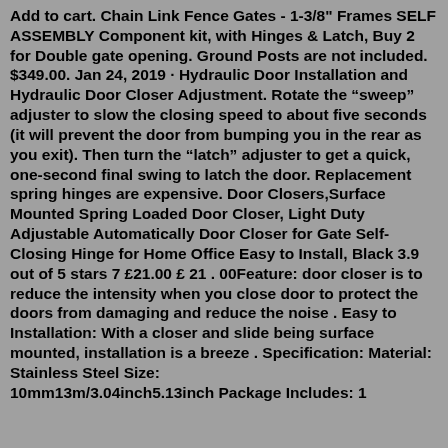Add to cart. Chain Link Fence Gates - 1-3/8" Frames SELF ASSEMBLY Component kit, with Hinges & Latch, Buy 2 for Double gate opening. Ground Posts are not included. $349.00. Jan 24, 2019 · Hydraulic Door Installation and Hydraulic Door Closer Adjustment. Rotate the “sweep” adjuster to slow the closing speed to about five seconds (it will prevent the door from bumping you in the rear as you exit). Then turn the “latch” adjuster to get a quick, one-second final swing to latch the door. Replacement spring hinges are expensive. Door Closers,Surface Mounted Spring Loaded Door Closer, Light Duty Adjustable Automatically Door Closer for Gate Self-Closing Hinge for Home Office Easy to Install, Black 3.9 out of 5 stars 7 £21.00 £ 21 . 00Feature: door closer is to reduce the intensity when you close door to protect the doors from damaging and reduce the noise . Easy to Installation: With a closer and slide being surface mounted, installation is a breeze . Specification: Material: Stainless Steel Size: 10mm13m/3.94inch5.13inch Package Includes: 1